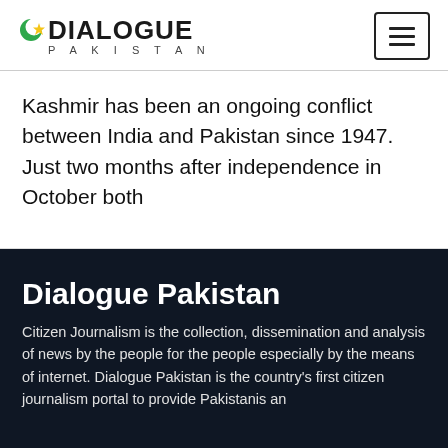DIALOGUE PAKISTAN
Kashmir has been an ongoing conflict between India and Pakistan since 1947. Just two months after independence in October both
Dialogue Pakistan
Citizen Journalism is the collection, dissemination and analysis of news by the people for the people especially by the means of internet. Dialogue Pakistan is the country's first citizen journalism portal to provide Pakistanis an